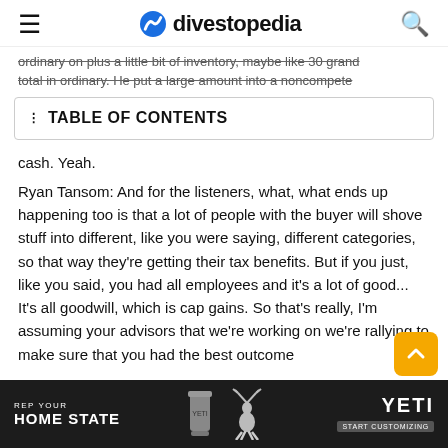divestopedia
ordinary on plus a little bit of inventory, maybe like 30 grand total in ordinary. He put a large amount into a noncompete
TABLE OF CONTENTS
cash. Yeah.
Ryan Tansom: And for the listeners, what, what ends up happening too is that a lot of people with the buyer will shove stuff into different, like you were saying, different categories, so that way they're getting their tax benefits. But if you just, like you said, you had all employees and it's a lot of good... It's all goodwill, which is cap gains. So that's really, I'm assuming your advisors that we're working on we're rallying to make sure that you had the best outcome
[Figure (screenshot): YETI advertisement banner: REP YOUR HOME STATE with cup and deer imagery, START CUSTOMIZING button]